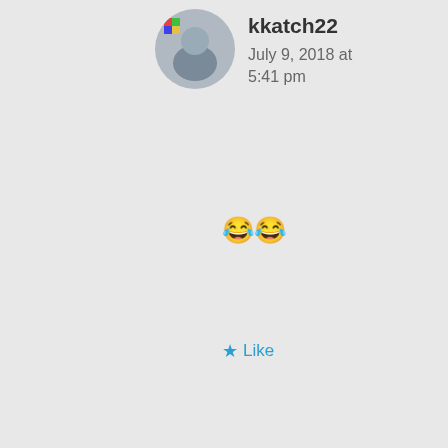[Figure (photo): Round avatar photo of user kkatch22 — person standing in front of colorful artwork]
kkatch22
July 9, 2018 at 5:41 pm
😂😂
★ Like
[Figure (photo): Round avatar photo of user Nina BW — woman wearing a hat, smiling]
Nina BW
July 10, 2018 at 2:07 am
Privacy & Cookies: This site uses cookies. By continuing to use this website, you agree to their use.
To find out more, including how to control cookies, see here: Cookie Policy
Close and accept
happen and we have a blast making fun of